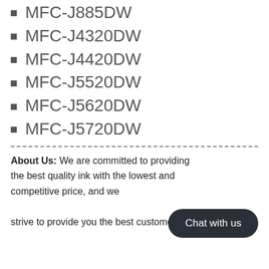MFC-J885DW
MFC-J4320DW
MFC-J4420DW
MFC-J5520DW
MFC-J5620DW
MFC-J5720DW
About Us: We are committed to providing the best quality ink with the lowest and competitive price, and we strive to provide you the best customer